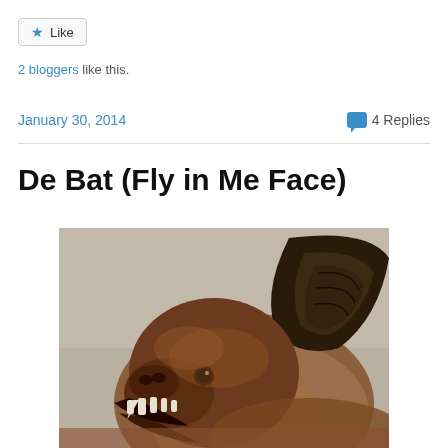Like
2 bloggers like this.
January 30, 2014
4 Replies
De Bat (Fly in Me Face)
[Figure (photo): Close-up photograph of a bat with brown fur, large dark ear, open mouth showing sharp teeth, and a visible eye, against a blurred background.]